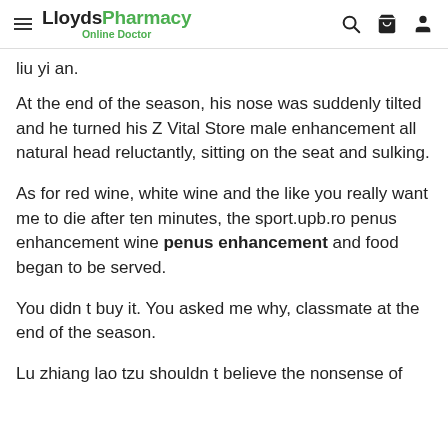LloydsPharmacy Online Doctor
liu yi an.
At the end of the season, his nose was suddenly tilted and he turned his Z Vital Store male enhancement all natural head reluctantly, sitting on the seat and sulking.
As for red wine, white wine and the like you really want me to die after ten minutes, the sport.upb.ro penus enhancement wine penus enhancement and food began to be served.
You didn t buy it. You asked me why, classmate at the end of the season.
Lu zhiang lao tzu shouldn t believe the nonsense of